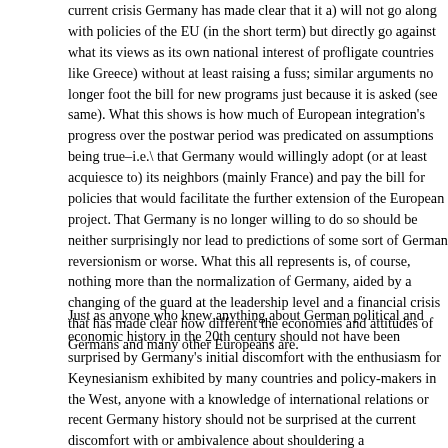current crisis Germany has made clear that it a) will not go along with policies of the EU (in the short term) but directly go against what its views as its own national interest (of profligate countries like Greece) without at least raising a fuss; similar arguments no longer foot the bill for new programs just because it is asked (see same). What this shows is how much of European integration's progress over the postwar period was predicated on assumptions being true–i.e.\ that Germany would willingly adopt (or at least acquiesce to) its neighbors (mainly France) and pay the bill for policies that would facilitate the further extension of the European project. That Germany is no longer willing to do so should be neither surprisingly nor lead to predictions of some sort of German reversionism or worse. What this all represents is, of course, nothing more than the normalization of Germany, aided by a changing of the guard at the leadership level and a financial crisis that has made clear how different the economies and attitudes of Germans and many other Europeans are.
Just as anyone who knew anything about German political and economic history in the 20th century should not have been surprised by Germany's initial discomfort with the enthusiasm for Keynesianism exhibited by many countries and policy-makers in the West, anyone with a knowledge of international relations or recent Germany history should not be surprised at the current discomfort with or ambivalence about shouldering a disproportionate burden as the European engine. The signs have been there for a long time, but it has taken this crisis to highlight not only this shift in Germany's stance but how important it is.